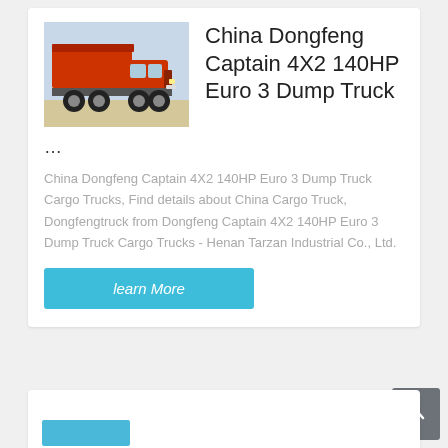[Figure (photo): Red Dongfeng Captain dump truck parked outdoors, front-side view]
China Dongfeng Captain 4X2 140HP Euro 3 Dump Truck
...
China Dongfeng Captain 4X2 140HP Euro 3 Dump Truck Cargo Trucks, Find details about China Cargo Truck, Dongfengtruck from Dongfeng Captain 4X2 140HP Euro 3 Dump Truck Cargo Trucks - Henan Tarzan Industrial Co., Ltd.
learn More
[Figure (photo): Partial view of another truck listing card below]